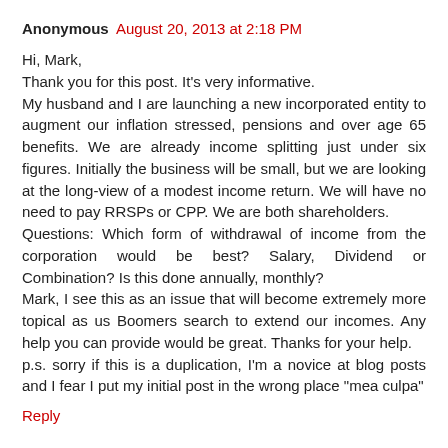Anonymous August 20, 2013 at 2:18 PM
Hi, Mark,
Thank you for this post. It's very informative.
My husband and I are launching a new incorporated entity to augment our inflation stressed, pensions and over age 65 benefits. We are already income splitting just under six figures. Initially the business will be small, but we are looking at the long-view of a modest income return. We will have no need to pay RRSPs or CPP. We are both shareholders.
Questions: Which form of withdrawal of income from the corporation would be best? Salary, Dividend or Combination? Is this done annually, monthly?
Mark, I see this as an issue that will become extremely more topical as us Boomers search to extend our incomes. Any help you can provide would be great. Thanks for your help.
p.s. sorry if this is a duplication, I'm a novice at blog posts and I fear I put my initial post in the wrong place "mea culpa"
Reply